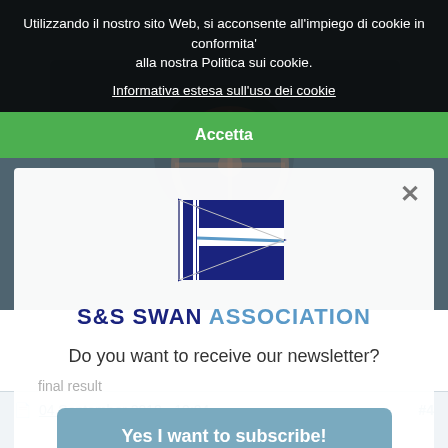[Figure (screenshot): Boat cockpit photo background (dark/grey, partially visible behind overlays)]
Utilizzando il nostro sito Web, si acconsente all'impiego di cookie in conformita' alla nostra Politica sui cookie.
Informativa estesa sull'uso dei cookie
Accetta
[Figure (logo): S&S Swan Association pennant logo — blue and white triangular pennant with cross]
S&S SWAN ASSOCIATION
Do you want to receive our newsletter?
final result
Yes I want to subscribe!
04 September 2018 - 10:04
#4
No, don't show this message again